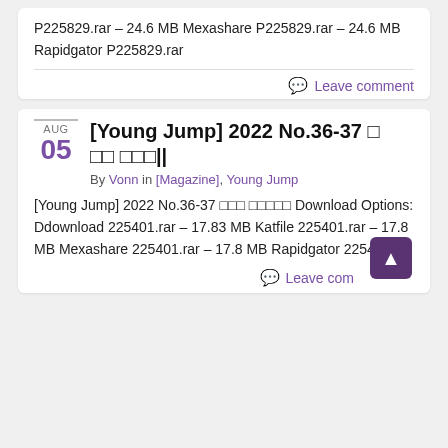P225829.rar – 24.6 MB Mexashare P225829.rar – 24.6 MB Rapidgator P225829.rar
Leave comment
[Young Jump] 2022 No.36-37 ? ?? ???||
By Vonn in [Magazine], Young Jump
[Young Jump] 2022 No.36-37 ??? ????? Download Options: Ddownload 225401.rar – 17.83 MB Katfile 225401.rar – 17.8 MB Mexashare 225401.rar – 17.8 MB Rapidgator 225401.rar
Leave com